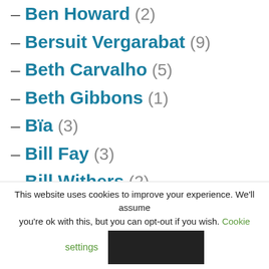– Ben Howard (2)
– Bersuit Vergarabat (9)
– Beth Carvalho (5)
– Beth Gibbons (1)
– Bïa (3)
– Bill Fay (3)
– Bill Withers (2)
– Billy Idol (2)
This website uses cookies to improve your experience. We'll assume you're ok with this, but you can opt-out if you wish. Cookie settings